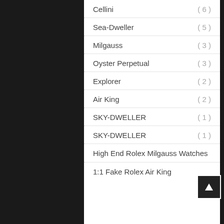Cellini ( 6 )
Sea-Dweller ( 5 )
Milgauss ( 3 )
Oyster Perpetual ( 3 )
Explorer ( 2 )
Air King ( 2 )
SKY-DWELLER ( 1 )
SKY-DWELLER ( 1 )
High End Rolex Milgauss Watches
1:1 Fake Rolex Air King